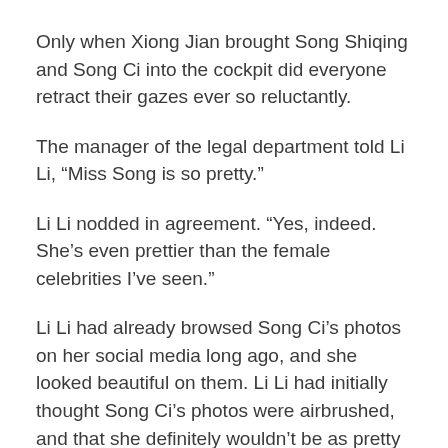Only when Xiong Jian brought Song Shiqing and Song Ci into the cockpit did everyone retract their gazes ever so reluctantly.
The manager of the legal department told Li Li, “Miss Song is so pretty.”
Li Li nodded in agreement. “Yes, indeed. She’s even prettier than the female celebrities I’ve seen.”
Li Li had already browsed Song Ci’s photos on her social media long ago, and she looked beautiful on them. Li Li had initially thought Song Ci’s photos were airbrushed, and that she definitely wouldn’t be as pretty in person.
Only when he saw her in person did Li Li believe that Song Ci’s beauty was real and not deceptive at all.
[partial text continues below]